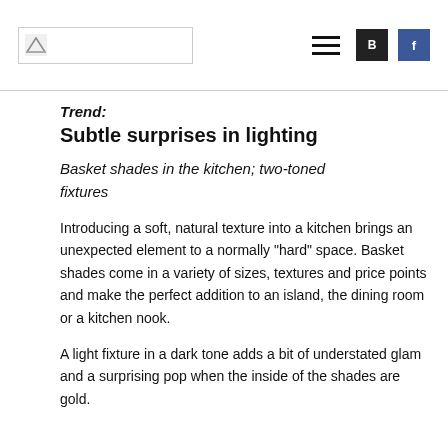[Logo image] [Hamburger menu] [B icon] [F icon]
Trend:
Subtle surprises in lighting
Basket shades in the kitchen; two-toned fixtures
Introducing a soft, natural texture into a kitchen brings an unexpected element to a normally “hard” space. Basket shades come in a variety of sizes, textures and price points and make the perfect addition to an island, the dining room or a kitchen nook.
A light fixture in a dark tone adds a bit of understated glam and a surprising pop when the inside of the shades are gold.